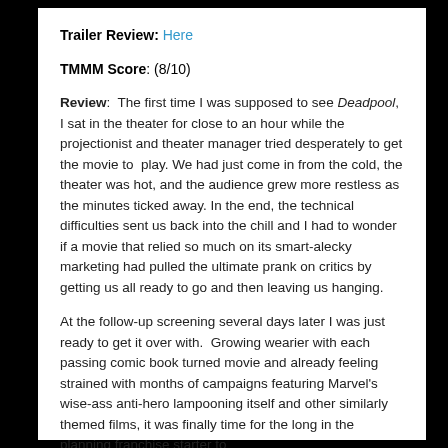Trailer Review: Here
TMMM Score: (8/10)
Review: The first time I was supposed to see Deadpool, I sat in the theater for close to an hour while the projectionist and theater manager tried desperately to get the movie to play. We had just come in from the cold, the theater was hot, and the audience grew more restless as the minutes ticked away. In the end, the technical difficulties sent us back into the chill and I had to wonder if a movie that relied so much on its smart-alecky marketing had pulled the ultimate prank on critics by getting us all ready to go and then leaving us hanging.
At the follow-up screening several days later I was just ready to get it over with. Growing wearier with each passing comic book turned movie and already feeling strained with months of campaigns featuring Marvel's wise-ass anti-hero lampooning itself and other similarly themed films, it was finally time for the long in the planning franchise starter to